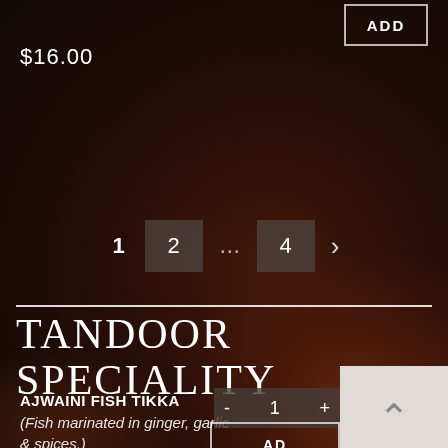$16.00
ADD
1  2  ...  4  >
TANDOOR SPECIALITY
AJWAINI FISH TIKKA
(Fish marinated in ginger, garlic & spices.)
$19.00
- 1 +
AD